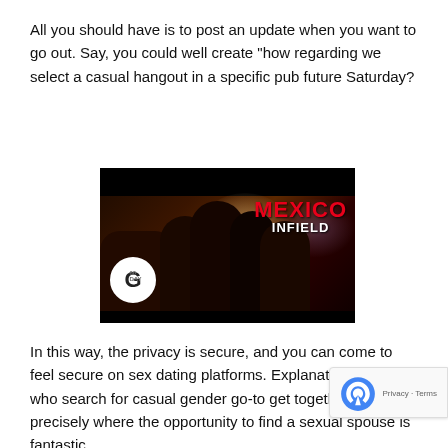All you should have is to post an update when you want to go out. Say, you could well create "how regarding we select a casual hangout in a specific pub future Saturday?
[Figure (photo): Nightclub scene with silhouetted people at a bar or club, with bright lights. Text overlay reads 'MEXICO INFIELD' in red and white. A logo with letter G in a white circle appears in the bottom left.]
In this way, the privacy is secure, and you can come to feel secure on sex dating platforms. Explanation people who search for casual gender go-to get together networks, precisely where the opportunity to find a sexual spouse is fantastic.